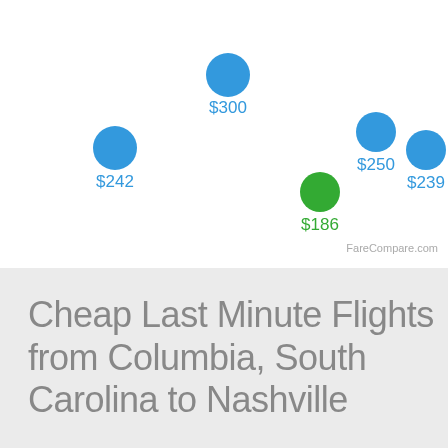[Figure (scatter-plot): Flight prices from Columbia, SC to Nashville]
Cheap Last Minute Flights from Columbia, South Carolina to Nashville